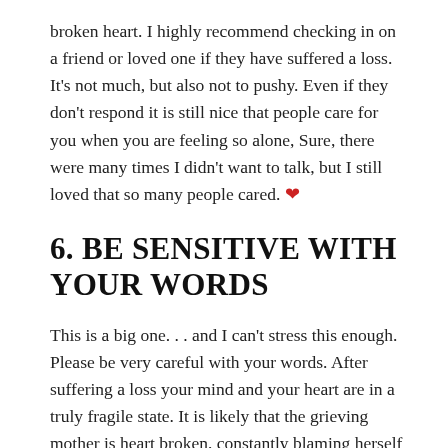broken heart. I highly recommend checking in on a friend or loved one if they have suffered a loss. It's not much, but also not to pushy. Even if they don't respond it is still nice that people care for you when you are feeling so alone, Sure, there were many times I didn't want to talk, but I still loved that so many people cared. ❤
6. BE SENSITIVE WITH YOUR WORDS
This is a big one. . . and I can't stress this enough. Please be very careful with your words. After suffering a loss your mind and your heart are in a truly fragile state. It is likely that the grieving mother is heart broken, constantly blaming herself and hating life. So, it is truly important not to contribute to these emotions of anger and sorrow